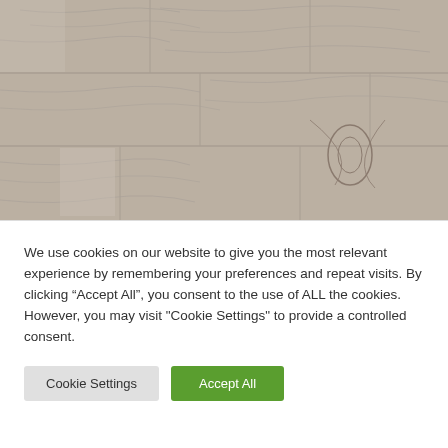[Figure (photo): Close-up photo of light grey/beige wood grain flooring or laminate panels with visible knots and grain texture]
We use cookies on our website to give you the most relevant experience by remembering your preferences and repeat visits. By clicking “Accept All”, you consent to the use of ALL the cookies. However, you may visit "Cookie Settings" to provide a controlled consent.